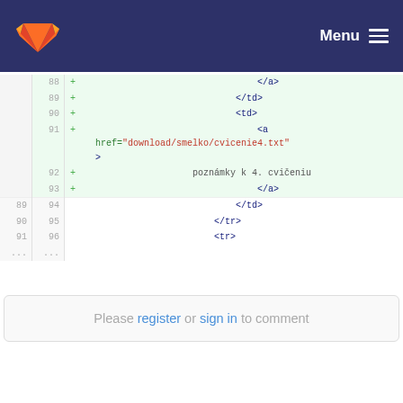Menu
[Figure (screenshot): GitLab diff view showing HTML code additions for lines 88-96 with line numbers and + markers, including </a>, </td>, <td>, <a href="download/smelko/cvicenie4.txt">, poznámky k 4. cvičeniu, </a>, </td>, </tr>, <tr> lines]
Please register or sign in to comment